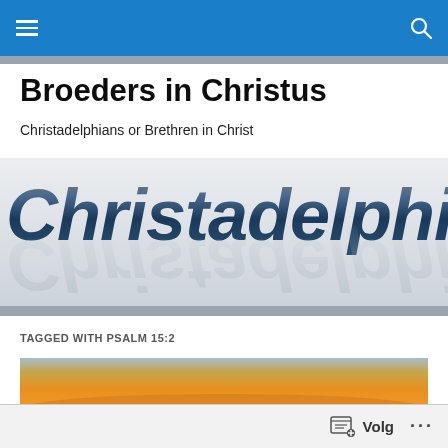Navigation bar with menu and search icons
Broeders in Christus
Christadelphians or Brethren in Christ
[Figure (logo): Christadelphians stylized italic logo text with metallic gradient and mirror reflection below]
TAGGED WITH PSALM 15:2
[Figure (photo): Sunset landscape photo with warm orange and golden sky near horizon]
Volg ...